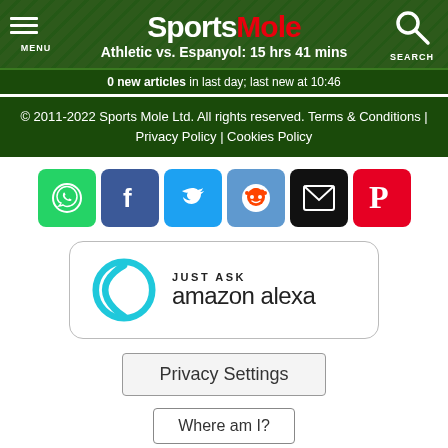Sports Mole — Athletic vs. Espanyol: 15 hrs 41 mins — MENU — SEARCH
0 new articles in last day; last new at 10:46
© 2011-2022 Sports Mole Ltd. All rights reserved. Terms & Conditions | Privacy Policy | Cookies Policy
[Figure (infographic): Social sharing buttons: WhatsApp, Facebook, Twitter, Reddit, Email, Pinterest]
[Figure (logo): Just Ask Amazon Alexa logo with cyan ring icon]
Privacy Settings
Where am I?